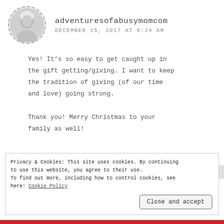[Figure (photo): Circular avatar photo of a person with light hair, shown in grayscale with a dashed circular border]
adventuresofabusymomcom
DECEMBER 15, 2017 AT 6:24 AM
Yes! It’s so easy to get caught up in the gift getting/giving. I want to keep the tradition of giving (of our time and love) going strong.

Thank you! Merry Christmas to your family as well!
Privacy & Cookies: This site uses cookies. By continuing to use this website, you agree to their use. To find out more, including how to control cookies, see here: Cookie Policy
Close and accept